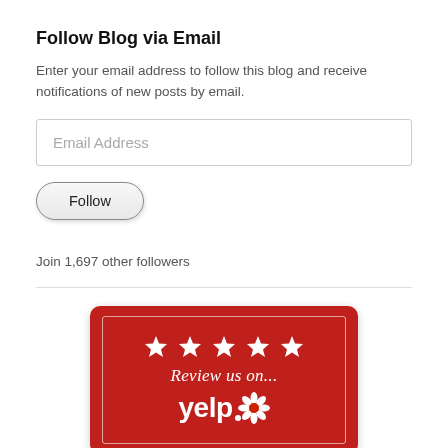Follow Blog via Email
Enter your email address to follow this blog and receive notifications of new posts by email.
Email Address
Follow
Join 1,697 other followers
[Figure (logo): Red Yelp review banner with five white stars, text 'Review us on...' and the Yelp logo with burst icon on a red gradient background with white inner border frame.]